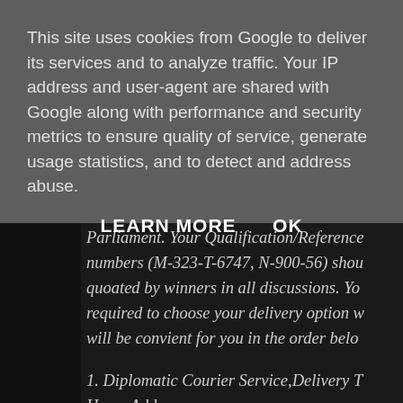This site uses cookies from Google to deliver its services and to analyze traffic. Your IP address and user-agent are shared with Google along with performance and security metrics to ensure quality of service, generate usage statistics, and to detect and address abuse.
LEARN MORE   OK
Parliament. Your Qualification/Reference numbers (M-323-T-6747, N-900-56) shou quoated by winners in all discussions. You required to choose your delivery option w will be convient for you in the order belo
1. Diplomatic Courier Service,Delivery T Home Address.